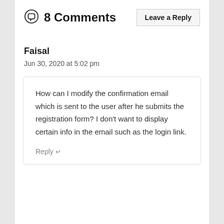8 Comments
Leave a Reply
Faisal
Jun 30, 2020 at 5:02 pm
How can I modify the confirmation email which is sent to the user after he submits the registration form? I don’t want to display certain info in the email such as the login link.
Reply